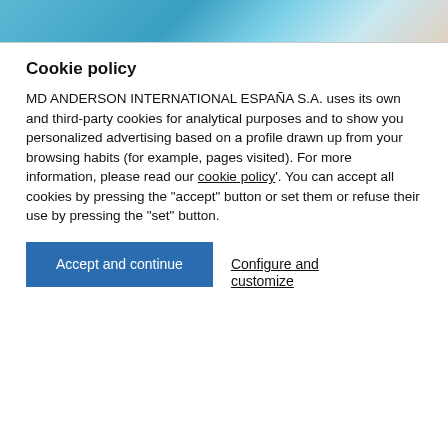[Figure (photo): Partial photo strip at top showing blue/teal tones, appears to be a person or scene with blue background]
Cookie policy
MD ANDERSON INTERNATIONAL ESPAÑA S.A. uses its own and third-party cookies for analytical purposes and to show you personalized advertising based on a profile drawn up from your browsing habits (for example, pages visited). For more information, please read our cookie policy'. You can accept all cookies by pressing the "accept" button or set them or refuse their use by pressing the "set" button.
Accept and continue
Configure and customize